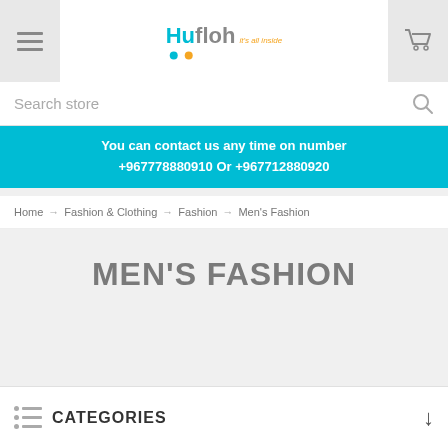[Figure (logo): Hufloh e-commerce logo with cyan and grey text and two dots]
Search store
You can contact us any time on number +967778880910 Or +967712880920
Home → Fashion & Clothing → Fashion → Men's Fashion
MEN'S FASHION
CATEGORIES